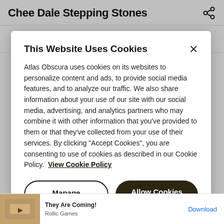Chee Dale Stepping Stones
53.2494, -1.8470
Visit Website
This Website Uses Cookies
Atlas Obscura uses cookies on its websites to personalize content and ads, to provide social media features, and to analyze our traffic. We also share information about your use of our site with our social media, advertising, and analytics partners who may combine it with other information that you've provided to them or that they've collected from your use of their services. By clicking "Accept Cookies", you are consenting to use of cookies as described in our Cookie Policy.  View Cookie Policy
Manage Preferences
Allow Cookies
They Are Coming!
Rollic Games
Download